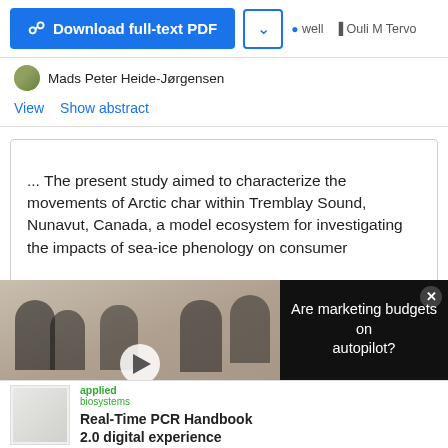[Figure (screenshot): Download full-text PDF button (blue) and a dropdown arrow button]
Ouli M Tervo
Mads Peter Heide-Jørgensen
View   Show abstract
... The present study aimed to characterize the movements of Arctic char within Tremblay Sound, Nunavut, Canada, a model ecosystem for investigating the impacts of sea-ice phenology on consumer
[Figure (screenshot): Video overlay: thumbnail of people in a meeting room with label 'ARE MARKETING ... ON AUTOPILOT?' and a play button, beside a black panel with text 'Are marketing budgets on autopilot?' and a close button]
[Figure (advertisement): Ad for Applied Biosystems: Real-Time PCR Handbook 2.0 digital experience]